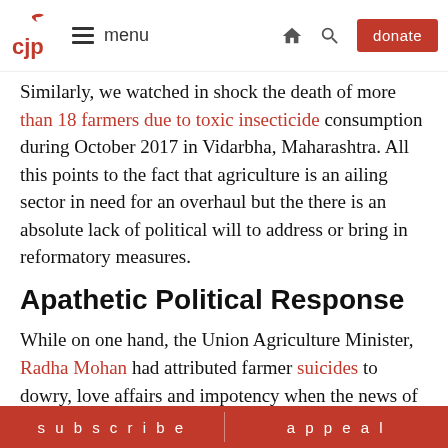CJP | menu | [home icon] [search icon] | donate
Similarly, we watched in shock the death of more than 18 farmers due to toxic insecticide consumption during October 2017 in Vidarbha, Maharashtra. All this points to the fact that agriculture is an ailing sector in need for an overhaul but the there is an absolute lack of political will to address or bring in reformatory measures.
Apathetic Political Response
While on one hand, the Union Agriculture Minister, Radha Mohan had attributed farmer suicides to dowry, love affairs and impotency when the news of 1400 farmer suicides in India broke out in 2015, on the other, Maharashtra Government blamed farmers for their own death. The
subscribe | appeal